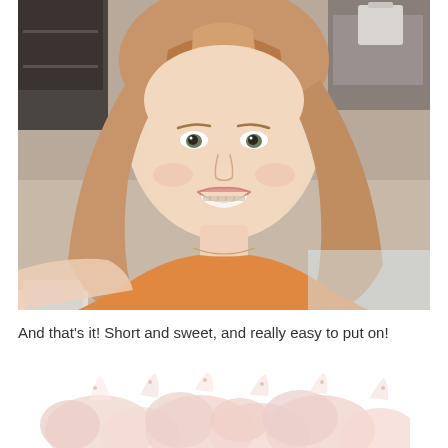[Figure (photo): A smiling young woman with long wavy strawberry-blonde hair, wearing an orange shirt and a delicate necklace, photographed in a kitchen setting. She appears to be taking a selfie.]
And that's it! Short and sweet, and really easy to put on!
[Figure (photo): Partial view of a decorative or food item, appears to be a light pink/white floral or ruffled object, partially cropped at the bottom of the page.]